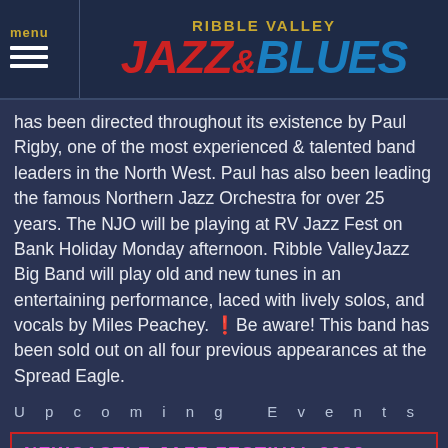menu | RIBBLE VALLEY JAZZ & BLUES
has been directed throughout its existence by Paul Rigby, one of the most experienced & talented band leaders in the North West. Paul has also been leading the famous Northern Jazz Orchestra for over 25 years. The NJO will be playing at RV Jazz Fest on Bank Holiday Monday afternoon. Ribble ValleyJazz Big Band will play old and new tunes in an entertaining performance, laced with lively solos, and vocals by Miles Peachey. ❗ Be aware! This band has been sold out on all four previous appearances at the Spread Eagle.
Upcoming Events
NEWCASTLE JAZZ FESTIVAL 2022
Thursday, 18 August to Sunday, 21 August